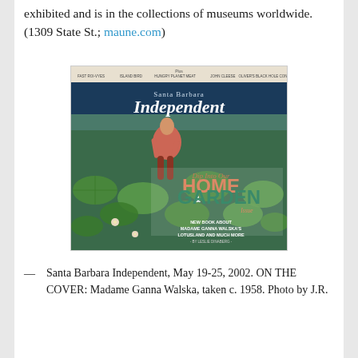exhibited and is in the collections of museums worldwide. (1309 State St.; maune.com)
[Figure (photo): Cover of the Santa Barbara Independent magazine, Home & Garden Issue, May 19-25, 2002. Shows a woman in a red bikini standing among large lily pads in a pond. Text on cover reads: 'Dip Into Our HOME & GARDEN Issue. NEW BOOK ABOUT MADAME GANNA WALSKA'S LOTUSLAND AND MUCH MORE. BY LESLIE DINABERG.']
— Santa Barbara Independent, May 19-25, 2002. ON THE COVER: Madame Ganna Walska, taken c. 1958. Photo by J.R.